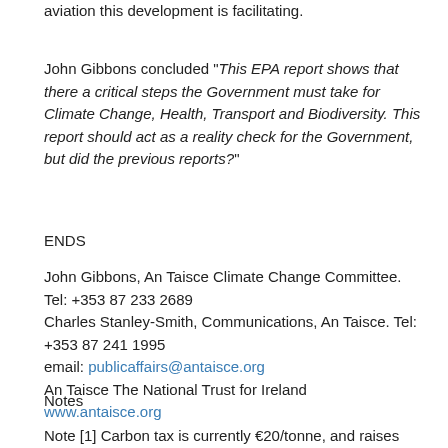aviation this development is facilitating.
John Gibbons concluded “This EPA report shows that there a critical steps the Government must take for Climate Change, Health, Transport and Biodiversity. This report should act as a reality check for the Government, but did the previous reports?”
ENDS
John Gibbons, An Taisce Climate Change Committee. Tel: +353 87 233 2689
Charles Stanley-Smith, Communications, An Taisce. Tel: +353 87 241 1995
email: publicaffairs@antaisce.org
An Taisce The National Trust for Ireland
www.antaisce.org
Notes
Note [1] Carbon tax is currently €20/tonne, and raises €400m pa,